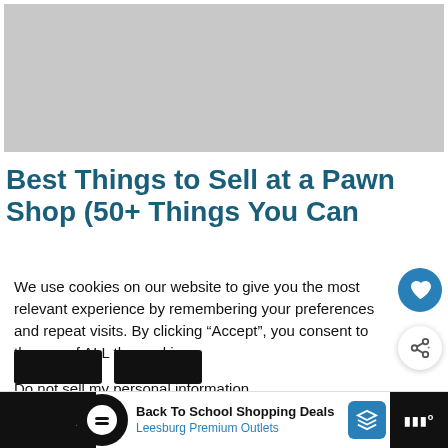[Figure (photo): Gray placeholder image area at top of page]
Best Things to Sell at a Pawn Shop (50+ Things You Can...
We use cookies on our website to give you the most relevant experience by remembering your preferences and repeat visits. By clicking “Accept”, you consent to the use of ALL the cookies.
Do not sell my personal information.
[Figure (screenshot): Ad banner: Back To School Shopping Deals - Leesburg Premium Outlets]